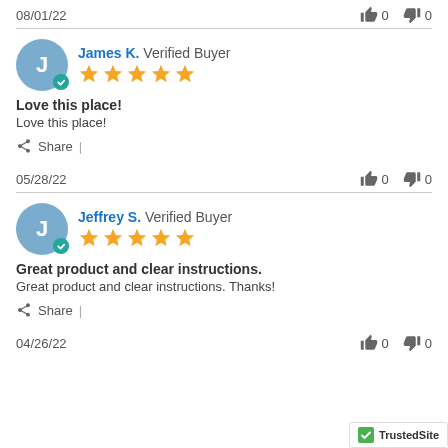08/01/22
0  0
James K. Verified Buyer
[Figure (other): 5-star rating]
Love this place!
Love this place!
Share |
05/28/22
0  0
Jeffrey S. Verified Buyer
[Figure (other): 5-star rating]
Great product and clear instructions.
Great product and clear instructions. Thanks!
Share |
04/26/22
0  0